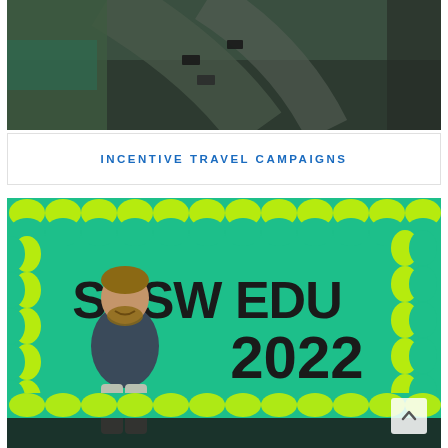[Figure (photo): Aerial view of a road with cars, dark tones, viewed from above]
INCENTIVE TRAVEL CAMPAIGNS
[Figure (photo): Man standing with arms crossed in front of a large SXSW EDU 2022 banner with teal and yellow-green wavy pattern design]